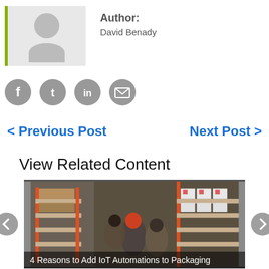[Figure (photo): Author avatar placeholder image with grey silhouette on light grey background with green left border]
Author:
David Benady
[Figure (infographic): Social sharing icons: Facebook, Twitter, LinkedIn, Email]
< Previous Post
Next Post >
View Related Content
[Figure (photo): Overhead view of warehouse workers between shelving racks with packaged products]
4 Reasons to Add IoT Automations to Packaging